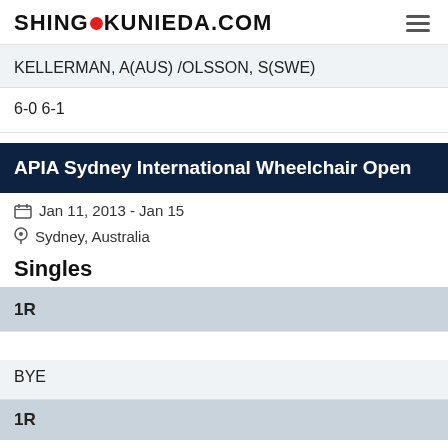SHINGO KUNIEDA.COM
KELLERMAN, A(AUS) /OLSSON, S(SWE)
6-0 6-1
APIA Sydney International Wheelchair Open
Jan 11, 2013 - Jan 15
Sydney, Australia
Singles
1R
BYE
1R